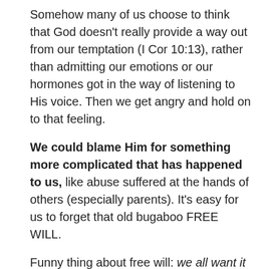Somehow many of us choose to think that God doesn't really provide a way out from our temptation (I Cor 10:13), rather than admitting our emotions or our hormones got in the way of listening to His voice. Then we get angry and hold on to that feeling.
We could blame Him for something more complicated that has happened to us, like abuse suffered at the hands of others (especially parents). It's easy for us to forget that old bugaboo FREE WILL.
Funny thing about free will: we all want it for ourselves, but not so much for others.
This comes up in conversation on a regular basis. People ask why God did something or allowed something, blaming Him for the actions of a person who chose (FREE WILL) to act wrongly. You can bet God spoke to the person, telling him not to go through with it, but did he